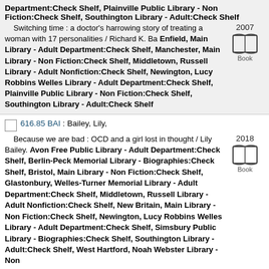Department:Check Shelf, Plainville Public Library - Non Fiction:Check Shelf, Southington Library - Adult:Check Shelf
Switching time : a doctor's harrowing story of treating a woman with 17 personalities / Richard K. Ba Enfield, Main Library - Adult Department:Check Shelf, Manchester, Main Library - Non Fiction:Check Shelf, Middletown, Russell Library - Adult Nonfiction:Check Shelf, Newington, Lucy Robbins Welles Library - Adult Department:Check Shelf, Plainville Public Library - Non Fiction:Check Shelf, Southington Library - Adult:Check Shelf
616.85 BAI : Bailey, Lily,
Because we are bad : OCD and a girl lost in thought / Lily Bailey. Avon Free Public Library - Adult Department:Check Shelf, Berlin-Peck Memorial Library - Biographies:Check Shelf, Bristol, Main Library - Non Fiction:Check Shelf, Glastonbury, Welles-Turner Memorial Library - Adult Department:Check Shelf, Middletown, Russell Library - Adult Nonfiction:Check Shelf, New Britain, Main Library - Non Fiction:Check Shelf, Newington, Lucy Robbins Welles Library - Adult Department:Check Shelf, Simsbury Public Library - Biographies:Check Shelf, Southington Library - Adult:Check Shelf, West Hartford, Noah Webster Library - Non